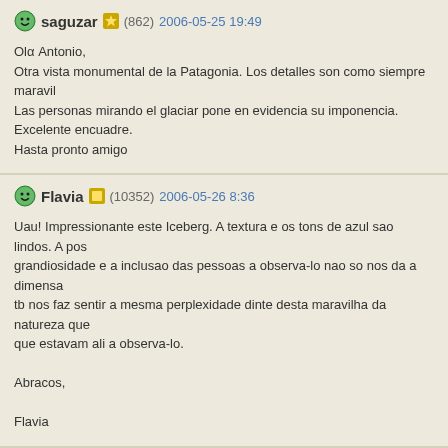saguzar (862) 2006-05-25 19:49
Olα Antonio,
Otra vista monumental de la Patagonia. Los detalles son como siempre maravil
Las personas mirando el glaciar pone en evidencia su imponencia.
Excelente encuadre.
Hasta pronto amigo
Flavia (10352) 2006-05-26 8:36
Uau! Impressionante este Iceberg. A textura e os tons de azul sao lindos. A pos grandiosidade e a inclusao das pessoas a observa-lo nao so nos da a dimensa tb nos faz sentir a mesma perplexidade dinte desta maravilha da natureza que que estavam ali a observa-lo.
Abracos,
Flavia
Albrecht (11283) 2006-05-27 3:47
Hi Antonio
Impressive and those tiny people shows how big it is there.